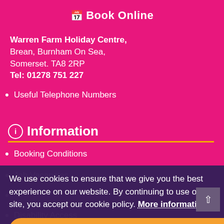Book Online
Warren Farm Holiday Centre, Brean, Burnham On Sea, Somerset. TA8 2RP
Tel: 01278 751 227
Useful Telephone Numbers
Information
Booking Conditions
Job Vacancies
Disability Access
Sustainability
We use cookies to ensure that we give you the best experience on our website. By continuing to use our site, you accept our cookie policy. More information
Quick Links